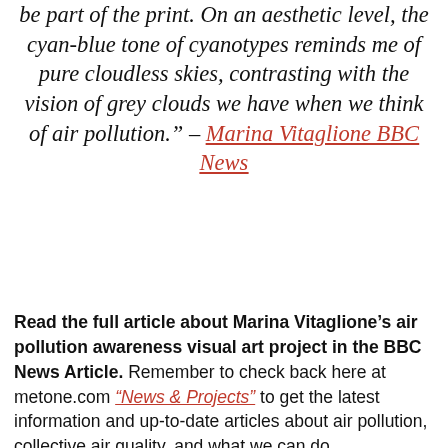be part of the print. On an aesthetic level, the cyan-blue tone of cyanotypes reminds me of pure cloudless skies, contrasting with the vision of grey clouds we have when we think of air pollution." – Marina Vitaglione BBC News
Read the full article about Marina Vitaglione's air pollution awareness visual art project in the BBC News Article. Remember to check back here at metone.com "News & Projects" to get the latest information and up-to-date articles about air pollution, collective air quality, and what we can do